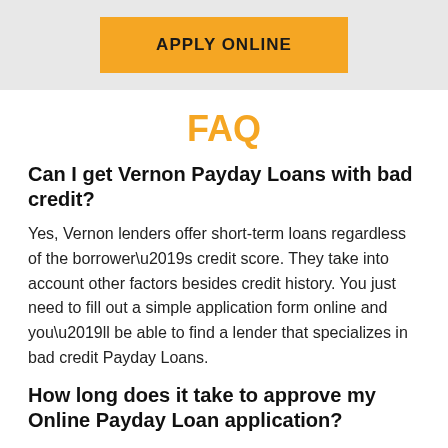[Figure (other): Orange 'APPLY ONLINE' button on grey banner background]
FAQ
Can I get Vernon Payday Loans with bad credit?
Yes, Vernon lenders offer short-term loans regardless of the borrower\u2019s credit score. They take into account other factors besides credit history. You just need to fill out a simple application form online and you\u2019ll be able to find a lender that specializes in bad credit Payday Loans.
How long does it take to approve my Online Payday Loan application?